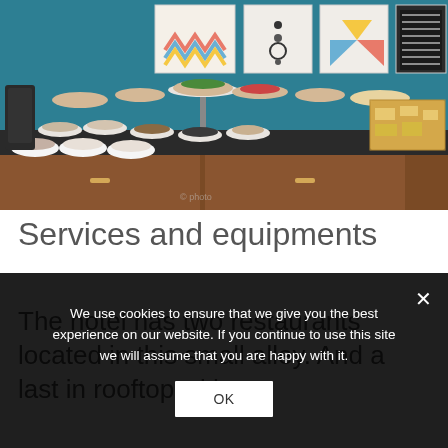[Figure (photo): A hotel buffet spread on a dark counter with many bowls of salads, vegetables, fruits, and other dishes arranged in tiers. Decorative artwork hangs on a teal blue wall in the background.]
Services and equipments
The hotel has two restaurants located in this small alley. And a last in rooftop with
We use cookies to ensure that we give you the best experience on our website. If you continue to use this site we will assume that you are happy with it.